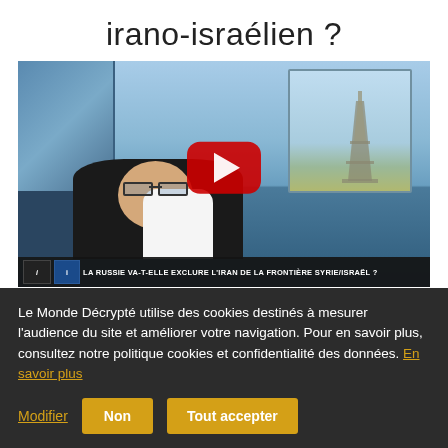irano-israélien ?
[Figure (screenshot): Thumbnail of a YouTube video showing a man in a dark suit sitting in a TV news studio with the Eiffel Tower visible in the background screen. A red YouTube play button is overlaid in the center. The lower third bar reads: LA RUSSIE VA-T-ELLE EXCLURE L'IRAN DE LA FRONTIÈRE SYRIE/ISRAËL ?]
Le Monde Décrypté utilise des cookies destinés à mesurer l'audience du site et améliorer votre navigation. Pour en savoir plus, consultez notre politique cookies et confidentialité des données. En savoir plus
Modifier
Non
Tout accepter